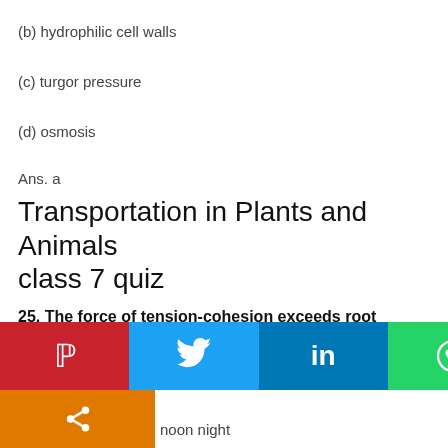(b) hydrophilic cell walls
(c) turgor pressure
(d) osmosis
Ans. a
Transportation in Plants and Animals class 7 quiz
25. The force of tension-cohesion exceeds root pressure on
(a) rainy day
(b) fog morning
noon night